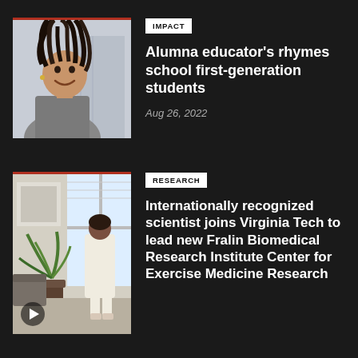[Figure (photo): Smiling woman with long braids, wearing a grey blazer, standing in a modern interior]
IMPACT
Alumna educator's rhymes school first-generation students
Aug 26, 2022
[Figure (photo): Person in white outfit standing near a window in a living room with a plant; video play button overlay]
RESEARCH
Internationally recognized scientist joins Virginia Tech to lead new Fralin Biomedical Research Institute Center for Exercise Medicine Research